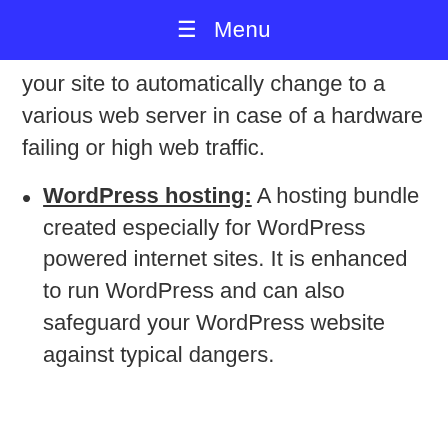≡ Menu
your site to automatically change to a various web server in case of a hardware failing or high web traffic.
WordPress hosting: A hosting bundle created especially for WordPress powered internet sites. It is enhanced to run WordPress and can also safeguard your WordPress website against typical dangers.